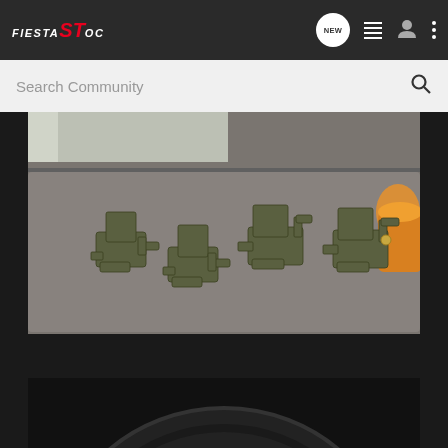FIESTA ST OC — navigation bar with NEW message bubble, list icon, user icon, and more options icon
Search Community
[Figure (photo): Four olive/army-green painted brake caliper sets laid out on a grey carpet mat, with an orange drink visible in the upper right corner and a window in the background.]
[Figure (photo): Partial view of a car tyre against a dark background — only the top portion of the tyre is visible.]